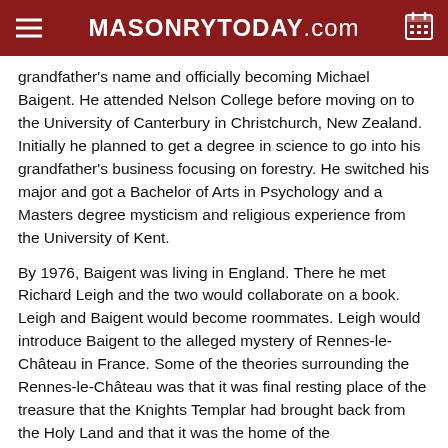MASONRYTODAY.com
grandfather's name and officially becoming Michael Baigent. He attended Nelson College before moving on to the University of Canterbury in Christchurch, New Zealand. Initially he planned to get a degree in science to go into his grandfather's business focusing on forestry. He switched his major and got a Bachelor of Arts in Psychology and a Masters degree mysticism and religious experience from the University of Kent.
By 1976, Baigent was living in England. There he met Richard Leigh and the two would collaborate on a book. Leigh and Baigent would become roommates. Leigh would introduce Baigent to the alleged mystery of Rennes-le-Château in France. Some of the theories surrounding the Rennes-le-Château was that it was final resting place of the treasure that the Knights Templar had brought back from the Holy Land and that it was the home of the Merovingians. These two items particularly interested Leigh and Baigent who theorized in their book The Holy Blood